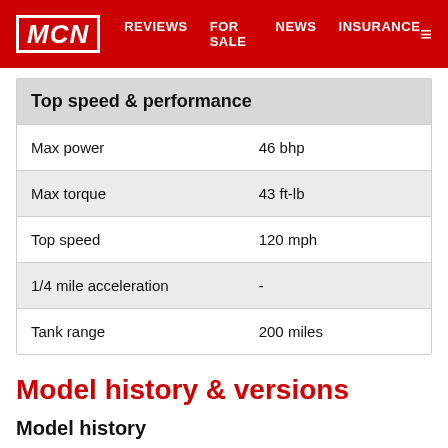MCN | REVIEWS | FOR SALE | NEWS | INSURANCE
| Top speed & performance |  |
| --- | --- |
| Max power | 46 bhp |
| Max torque | 43 ft-lb |
| Top speed | 120 mph |
| 1/4 mile acceleration | - |
| Tank range | 200 miles |
Model history & versions
Model history
2008: Yamaha XT660Z Tenere launched.
Other versions